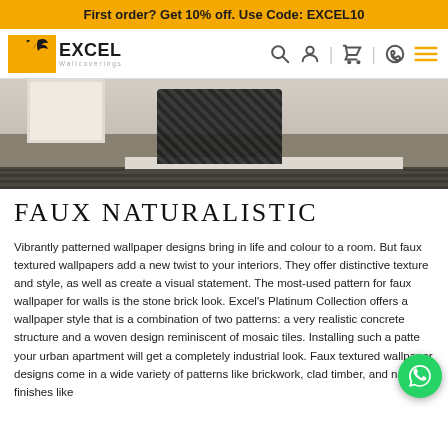First order? Get 10% off. Use Code: EXCEL10
[Figure (logo): Excel Wallcoverings logo with yellow box and bird/leaf symbol]
[Figure (photo): Interior room scene showing dark textured fabric/throw draped over white furniture, with a dark textured rug on a light floor]
FAUX NATURALISTIC
Vibrantly patterned wallpaper designs bring in life and colour to a room. But faux textured wallpapers add a new twist to your interiors. They offer distinctive texture and style, as well as create a visual statement. The most-used pattern for faux wallpaper for walls is the stone brick look. Excel's Platinum Collection offers a wallpaper style that is a combination of two patterns: a very realistic concrete structure and a woven design reminiscent of mosaic tiles. Installing such a patte your urban apartment will get a completely industrial look. Faux textured wallpaper designs come in a wide variety of patterns like brickwork, clad timber, and natural finishes like